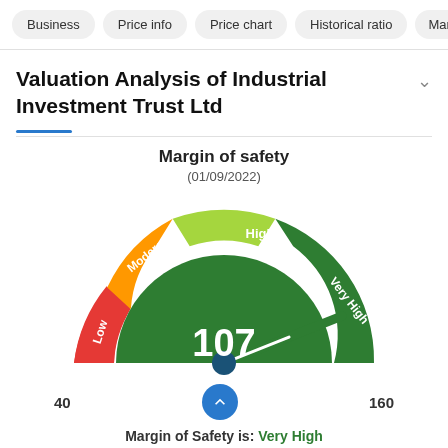Business | Price info | Price chart | Historical ratio | Marg
Valuation Analysis of Industrial Investment Trust Ltd
[Figure (other): Margin of safety gauge chart showing value of 107 out of range 40-160. Gauge segments: red=Low, orange=Moderate, yellow-green=High, dark green=Very High. Needle points to Very High zone (dark green). Center value displayed as 107.]
Margin of Safety is: Very High